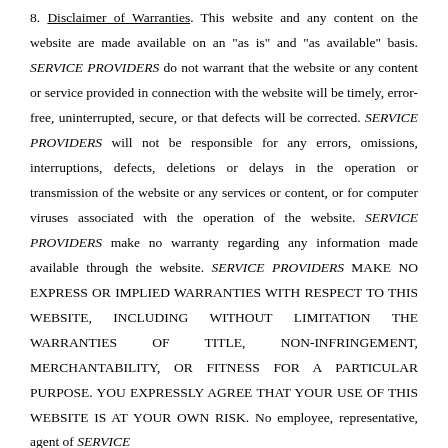8. Disclaimer of Warranties. This website and any content on the website are made available on an "as is" and "as available" basis. SERVICE PROVIDERS do not warrant that the website or any content or service provided in connection with the website will be timely, error-free, uninterrupted, secure, or that defects will be corrected. SERVICE PROVIDERS will not be responsible for any errors, omissions, interruptions, defects, deletions or delays in the operation or transmission of the website or any services or content, or for computer viruses associated with the operation of the website. SERVICE PROVIDERS make no warranty regarding any information made available through the website. SERVICE PROVIDERS MAKE NO EXPRESS OR IMPLIED WARRANTIES WITH RESPECT TO THIS WEBSITE, INCLUDING WITHOUT LIMITATION THE WARRANTIES OF TITLE, NON-INFRINGEMENT, MERCHANTABILITY, OR FITNESS FOR A PARTICULAR PURPOSE. YOU EXPRESSLY AGREE THAT YOUR USE OF THIS WEBSITE IS AT YOUR OWN RISK. No employee, representative, agent of SERVICE